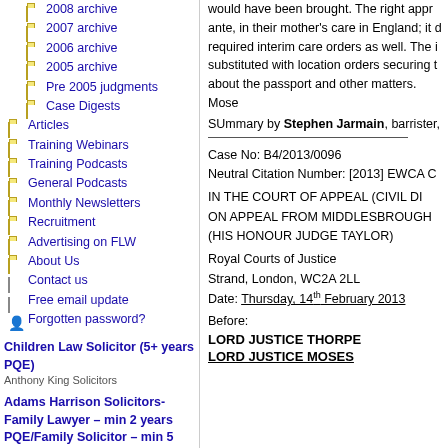2008 archive
2007 archive
2006 archive
2005 archive
Pre 2005 judgments
Case Digests
Articles
Training Webinars
Training Podcasts
General Podcasts
Monthly Newsletters
Recruitment
Advertising on FLW
About Us
Contact us
Free email update
Forgotten password?
Children Law Solicitor (5+ years PQE)
Anthony King Solicitors
Adams Harrison Solicitors-Family Lawyer – min 2 years PQE/Family Solicitor – min 5 years PQE
would have been brought. The right approach ante, in their mother's care in England; it d required interim care orders as well. The i substituted with location orders securing t about the passport and other matters. Mose
SUmmary by Stephen Jarmain, barrister,
Case No: B4/2013/0096
Neutral Citation Number: [2013] EWCA C
IN THE COURT OF APPEAL (CIVIL DI
ON APPEAL FROM MIDDLESBROUGH
(HIS HONOUR JUDGE TAYLOR)
Royal Courts of Justice
Strand, London, WC2A 2LL
Date: Thursday, 14th February 2013
Before:
LORD JUSTICE THORPE
LORD JUSTICE MOSES